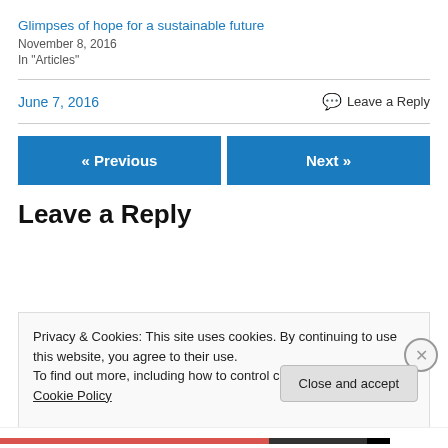Glimpses of hope for a sustainable future
November 8, 2016
In "Articles"
June 7, 2016    💬 Leave a Reply
« Previous
Next »
Leave a Reply
Privacy & Cookies: This site uses cookies. By continuing to use this website, you agree to their use.
To find out more, including how to control cookies, see here: Cookie Policy
Close and accept